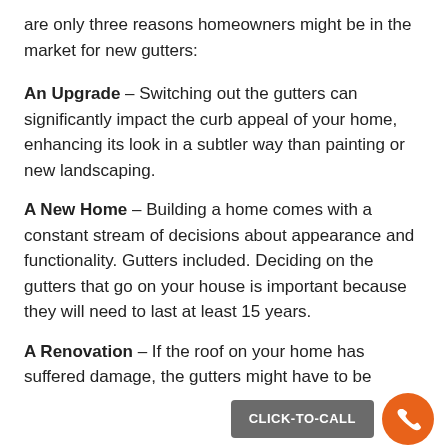are only three reasons homeowners might be in the market for new gutters:
An Upgrade – Switching out the gutters can significantly impact the curb appeal of your home, enhancing its look in a subtler way than painting or new landscaping.
A New Home – Building a home comes with a constant stream of decisions about appearance and functionality. Gutters included. Deciding on the gutters that go on your house is important because they will need to last at least 15 years.
A Renovation – If the roof on your home has suffered damage, the gutters might have to be replaced. Or, they might simply be deteriorating and need to be replaced.
You know why you are installing new gutters, but the reason often has underlying motivations...